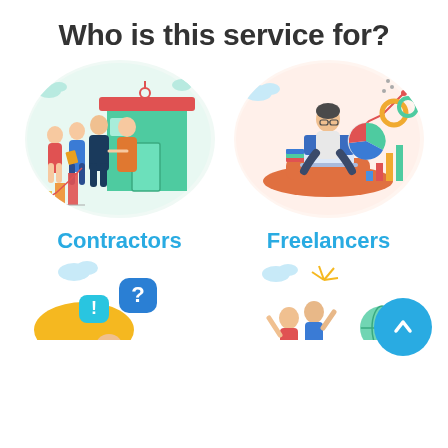Who is this service for?
[Figure (illustration): Flat vector illustration of contractors: group of people shaking hands outside a storefront building with a red awning and a rising bar chart in the foreground]
Contractors
[Figure (illustration): Flat vector illustration of a freelancer: person sitting cross-legged on a large smartphone, working on a laptop, surrounded by charts and graphs]
Freelancers
[Figure (illustration): Partial flat vector illustration at bottom-left: colorful question mark and exclamation mark speech bubbles with a figure below, clouds above]
[Figure (illustration): Partial flat vector illustration at bottom-right: group of people cheering/celebrating with raised arms, clouds and globe motif]